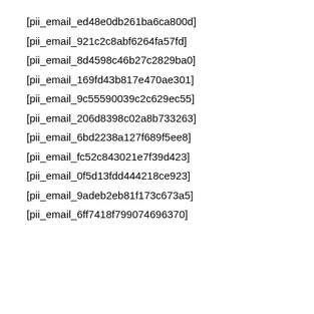[pii_email_ed48e0db261ba6ca800d]
[pii_email_921c2c8abf6264fa57fd]
[pii_email_8d4598c46b27c2829ba0]
[pii_email_169fd43b817e470ae301]
[pii_email_9c55590039c2c629ec55]
[pii_email_206d8398c02a8b733263]
[pii_email_6bd2238a127f689f5ee8]
[pii_email_fc52c843021e7f39d423]
[pii_email_0f5d13fdd444218ce923]
[pii_email_9adeb2eb81f173c673a5]
[pii_email_6ff7418f799074696370]